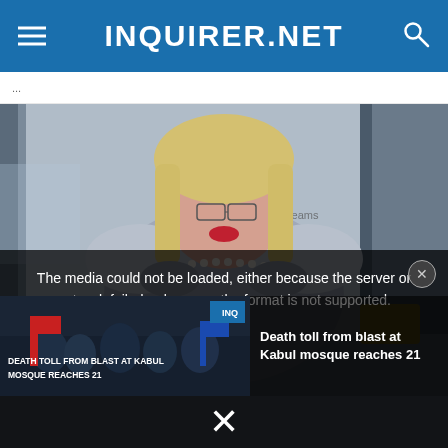INQUIRER.NET
[Figure (photo): A person with blonde hair, glasses, and red lipstick wearing a gray top and pearl necklace, standing in a doorway. Below the photo is a video player overlay with an error message and a related news video thumbnail showing 'DEATH TOLL FROM BLAST AT KABUL MOSQUE REACHES 21'.]
The media could not be loaded, either because the server or network failed or because the format is not supported.
Death toll from blast at Kabul mosque reaches 21